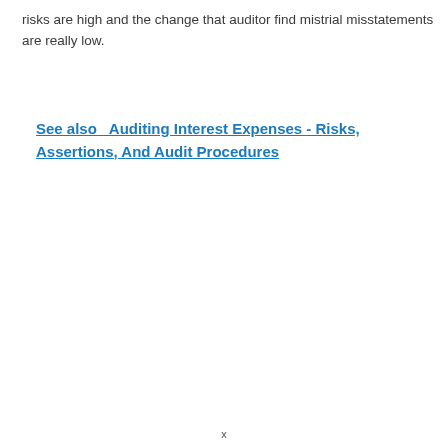risks are high and the change that auditor find mistrial misstatements are really low.
See also  Auditing Interest Expenses - Risks, Assertions, And Audit Procedures
x